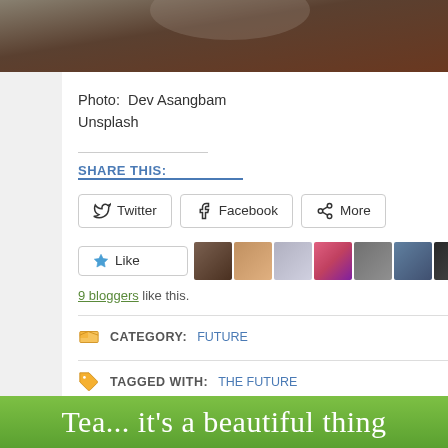[Figure (photo): Dark close-up photograph, partial view at top of page]
Photo:  Dev Asangbam
Unsplash
SHARE THIS:
Twitter  Facebook  More
Like  9 bloggers like this.
CATEGORY:  FUTURE
TAGGED WITH:  THE FUTURE
Tea... it's a beautiful thing